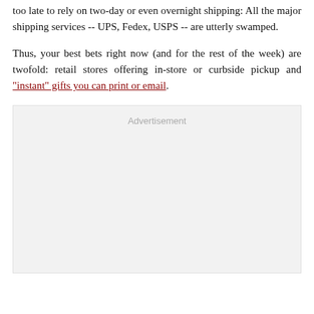too late to rely on two-day or even overnight shipping: All the major shipping services -- UPS, Fedex, USPS -- are utterly swamped.
Thus, your best bets right now (and for the rest of the week) are twofold: retail stores offering in-store or curbside pickup and "instant" gifts you can print or email.
[Figure (other): Advertisement placeholder box]